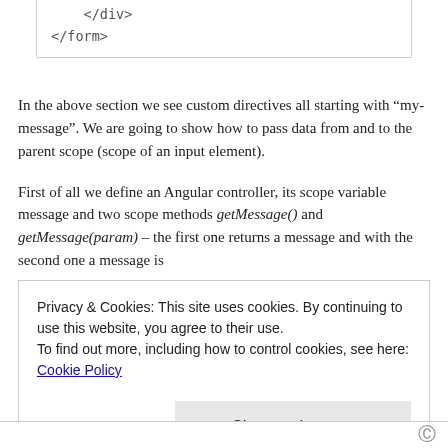</div>
</form>
In the above section we see custom directives all starting with “my-message”. We are going to show how to pass data from and to the parent scope (scope of an input element).
First of all we define an Angular controller, its scope variable message and two scope methods getMessage() and getMessage(param) – the first one returns a message and with the second one a message is
Privacy & Cookies: This site uses cookies. By continuing to use this website, you agree to their use.
To find out more, including how to control cookies, see here: Cookie Policy
Close and accept